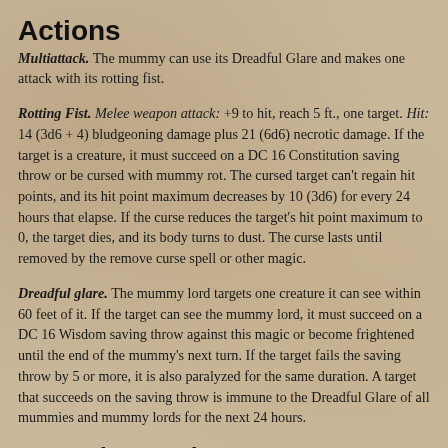Actions
Multiattack. The mummy can use its Dreadful Glare and makes one attack with its rotting fist.
Rotting Fist. Melee weapon attack: +9 to hit, reach 5 ft., one target. Hit: 14 (3d6 + 4) bludgeoning damage plus 21 (6d6) necrotic damage. If the target is a creature, it must succeed on a DC 16 Constitution saving throw or be cursed with mummy rot. The cursed target can't regain hit points, and its hit point maximum decreases by 10 (3d6) for every 24 hours that elapse. If the curse reduces the target's hit point maximum to 0, the target dies, and its body turns to dust. The curse lasts until removed by the remove curse spell or other magic.
Dreadful glare. The mummy lord targets one creature it can see within 60 feet of it. If the target can see the mummy lord, it must succeed on a DC 16 Wisdom saving throw against this magic or become frightened until the end of the mummy's next turn. If the target fails the saving throw by 5 or more, it is also paralyzed for the same duration. A target that succeeds on the saving throw is immune to the Dreadful Glare of all mummies and mummy lords for the next 24 hours.
Legendary Actions
The mummy lord can take 3 legendary actions, choosing from the options below. Only one legendary action option can be used at a